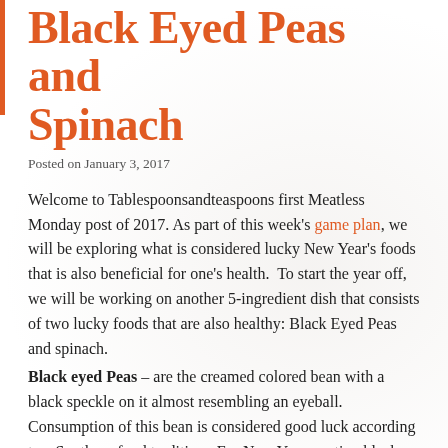Black Eyed Peas and Spinach
Posted on January 3, 2017
Welcome to Tablespoonsandteaspoons first Meatless Monday post of 2017. As part of this week's game plan, we will be exploring what is considered lucky New Year's foods that is also beneficial for one's health.  To start the year off, we will be working on another 5-ingredient dish that consists of two lucky foods that are also healthy: Black Eyed Peas and spinach.
Black eyed Peas – are the creamed colored bean with a black speckle on it almost resembling an eyeball. Consumption of this bean is considered good luck according to a Southern food tradition.  For New Years, eating black eyed peas symbolizes coins, which brings in good luck and prosperity for the year.